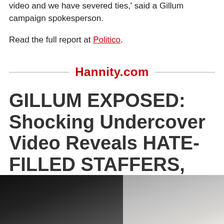video and we have severed ties,' said a Gillum campaign spokesperson.
Read the full report at Politico.
Hannity.com
GILLUM EXPOSED: Shocking Undercover Video Reveals HATE-FILLED STAFFERS, Campaign Lies
[Figure (photo): Photograph partially visible at bottom of page, showing dark foliage on left and a lighter background on right, likely an indoor scene.]